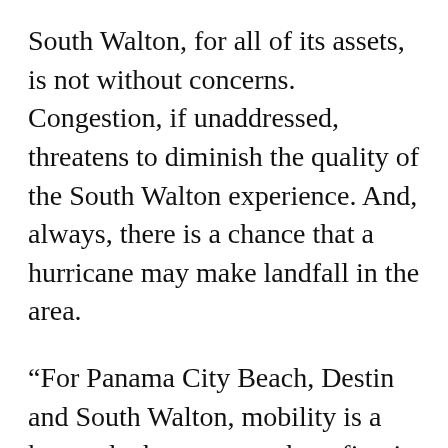South Walton, for all of its assets, is not without concerns. Congestion, if unaddressed, threatens to diminish the quality of the South Walton experience. And, always, there is a chance that a hurricane may make landfall in the area.
“For Panama City Beach, Destin and South Walton, mobility is a key and whoever gets there first is going to have an advantage. You want to be able to take the car out of the vacation and make it possible for people to retain the ability to move about and explore their destination. One of our key advantages is that you can walk or ride